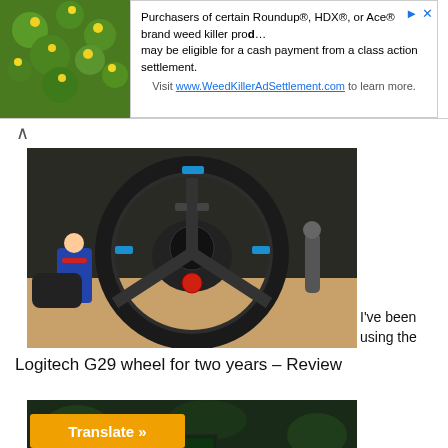[Figure (photo): Plant with yellow flowers, green foliage background]
[Figure (infographic): Advertisement banner for Roundup/HDX/Ace weed killer class action settlement - WeedKillerAdSettlement.com]
[Figure (photo): Logitech G29 racing steering wheel with PlayStation logo, blue accents, red center button, mounted on a racing rig with a Captain America figurine visible]
I've been using the Logitech G29 wheel for two years – Review
[Figure (photo): Gaming setup with multiple monitors, green ambient lighting, plants, shelves with figures, and a Monokuma plush on a gaming chair]